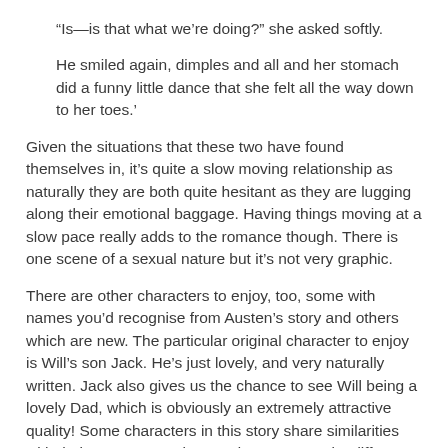“Is—is that what we’re doing?” she asked softly.
He smiled again, dimples and all and her stomach did a funny little dance that she felt all the way down to her toes.’
Given the situations that these two have found themselves in, it’s quite a slow moving relationship as naturally they are both quite hesitant as they are lugging along their emotional baggage. Having things moving at a slow pace really adds to the romance though. There is one scene of a sexual nature but it’s not very graphic.
There are other characters to enjoy, too, some with names you’d recognise from Austen’s story and others which are new. The particular original character to enjoy is Will’s son Jack. He’s just lovely, and very naturally written. Jack also gives us the chance to see Will being a lovely Dad, which is obviously an extremely attractive quality! Some characters in this story share similarities with their P&P namesakes, and some are quite different. I will let you discover which ones by yourself, but some of the characters are not the trustworthy, supportive people you might be expecting and might try to